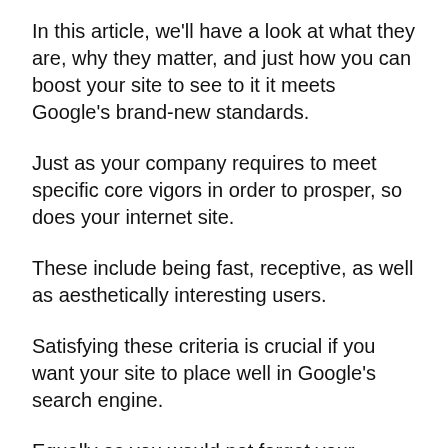In this article, we'll have a look at what they are, why they matter, and just how you can boost your site to see to it it meets Google's brand-new standards.
Just as your company requires to meet specific core vigors in order to prosper, so does your internet site.
These include being fast, receptive, as well as aesthetically interesting users.
Satisfying these criteria is crucial if you want your site to place well in Google's search engine.
Equally as you would not forget your organization's core vigors, do not disregard